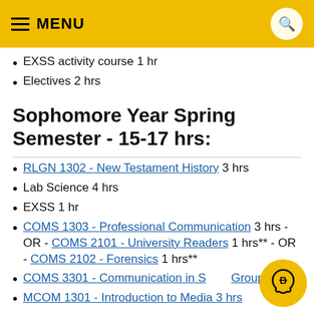MENU
EXSS activity course 1 hr
Electives 2 hrs
Sophomore Year Spring Semester - 15-17 hrs:
RLGN 1302 - New Testament History 3 hrs
Lab Science 4 hrs
EXSS 1 hr
COMS 1303 - Professional Communication 3 hrs - OR - COMS 2101 - University Readers 1 hrs** - OR - COMS 2102 - Forensics 1 hrs**
COMS 3301 - Communication in Small Groups 3 hrs
MCOM 1301 - Introduction to Media 3 hrs